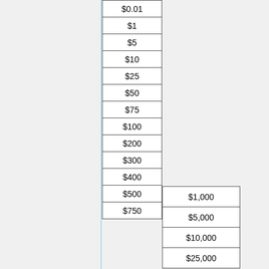| $0.01 |
| $1 |
| $5 |
| $10 |
| $25 |
| $50 |
| $75 |
| $100 |
| $200 |
| $300 |
| $400 |
| $500 |
| $750 |
| $1,000 |
| $5,000 |
| $10,000 |
| $25,000 |